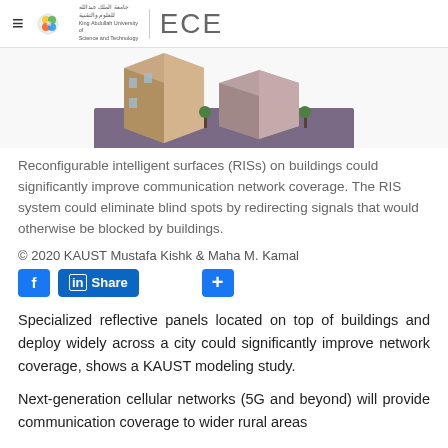ECE
[Figure (illustration): Isometric 3D illustration of a city block with buildings and streets, showing network signal coverage concept]
Reconfigurable intelligent surfaces (RISs) on buildings could significantly improve communication network coverage. The RIS system could eliminate blind spots by redirecting signals that would otherwise be blocked by buildings.
© 2020 KAUST Mustafa Kishk & Maha M. Kamal
Specialized reflective panels located on top of buildings and deploy widely across a city could significantly improve network coverage, shows a KAUST modeling study.
Next-generation cellular networks (5G and beyond) will provide communication coverage to wider rural areas